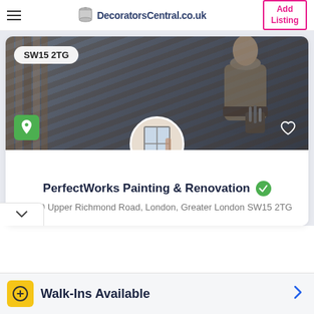DecoratorsCentral.co.uk | Add Listing
[Figure (screenshot): Business listing card for PerfectWorks Painting & Renovation showing a banner photo of a worker with tools on a belt, a postcode badge SW15 2TG, map pin icon, heart icon, and circular avatar of a painter.]
SW15 2TG
PerfectWorks Painting & Renovation
93-99 Upper Richmond Road, London, Greater London SW15 2TG
Walk-Ins Available